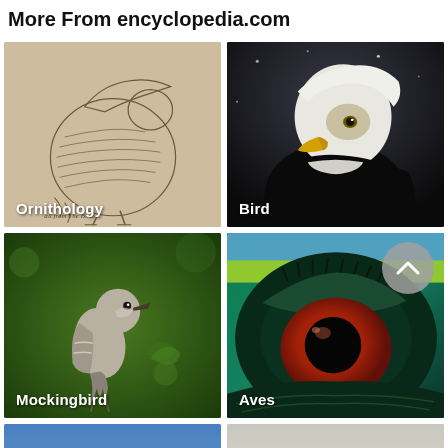More From encyclopedia.com
[Figure (photo): Pencil sketch illustration of a bird (Ornithology), with label 'Ornithology' at bottom left]
[Figure (photo): Close-up photo of a bald eagle with white head and yellow beak, with label 'Bird' at bottom left]
[Figure (photo): Photo of a mockingbird perched on a branch with green leaves, with label 'Mockingbird' at bottom left]
[Figure (photo): Extreme close-up of a bird's eye (green and yellow feathers, red eye), with label 'Aves' at bottom left]
[Figure (photo): Photo of a frigatebird in flight against blue sky, labels 'ale' and 'emale' visible on left, 'Juveni' on right]
[Figure (photo): Misty landscape photo with trees and water visible through fog]